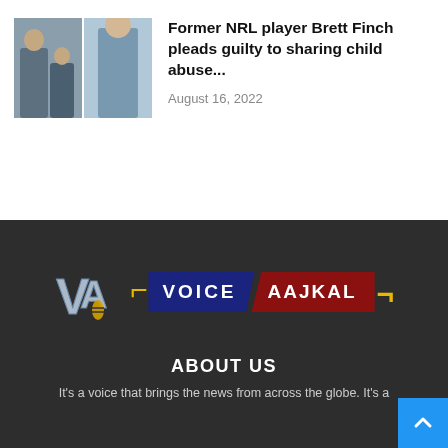[Figure (photo): Two-panel image: left panel shows a person in casual clothes, right panel shows an athlete in blue sports jersey celebrating]
Former NRL player Brett Finch pleads guilty to sharing child abuse...
August 16, 2022
[Figure (logo): Voice Aajkal logo with stylized VA letters and text VOICE AAJKAL on dark background]
ABOUT US
It's a voice that brings the news from across the globe. It's a